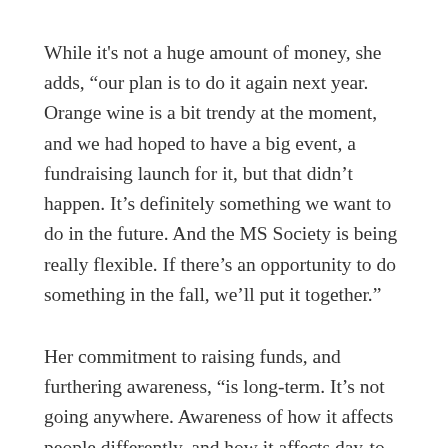While it's not a huge amount of money, she adds, “our plan is to do it again next year. Orange wine is a bit trendy at the moment, and we had hoped to have a big event, a fundraising launch for it, but that didn’t happen. It’s definitely something we want to do in the future. And the MS Society is being really flexible. If there’s an opportunity to do something in the fall, we’ll put it together.”
Her commitment to raising funds, and furthering awareness, “is long-term. It’s not going anywhere. Awareness of how it affects people differently, and how it affects day-to-day lives, is important. While we may see and notice the impact on some who suffer from the progressive disease,” she says, “there are a lot of people who struggle with it, and it’s not visible. Just because you don’t see it, doesn’t mean we’re not struggling.”